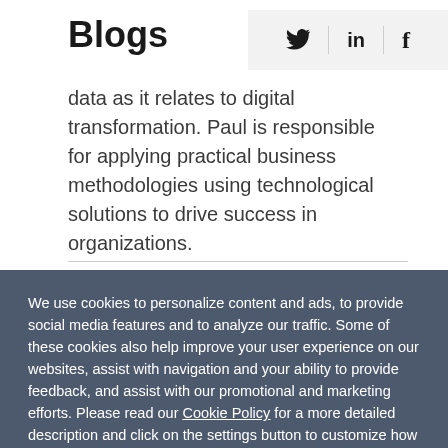Blogs
[Figure (other): Social media icons: Twitter bird, LinkedIn 'in', Facebook 'f']
data as it relates to digital transformation. Paul is responsible for applying practical business methodologies using technological solutions to drive success in organizations.
We use cookies to personalize content and ads, to provide social media features and to analyze our traffic. Some of these cookies also help improve your user experience on our websites, assist with navigation and your ability to provide feedback, and assist with our promotional and marketing efforts. Please read our Cookie Policy for a more detailed description and click on the settings button to customize how the site uses cookies for you.
ACCEPT COOKIES
COOKIES SETTINGS